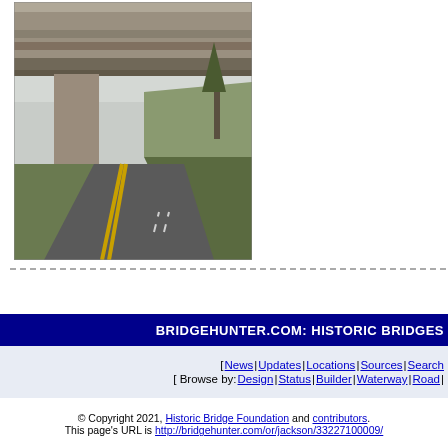[Figure (photo): Photograph of a concrete highway overpass bridge viewed from below and the side, with a curving two-lane road passing underneath. Mountains and trees visible in background.]
BRIDGEHUNTER.COM: HISTORIC BRIDGES
[ News | Updates | Locations | Sources | Search
[ Browse by: Design | Status | Builder | Waterway | Road |
© Copyright 2021, Historic Bridge Foundation and contributors. This page's URL is http://bridgehunter.com/or/jackson/33227100009/